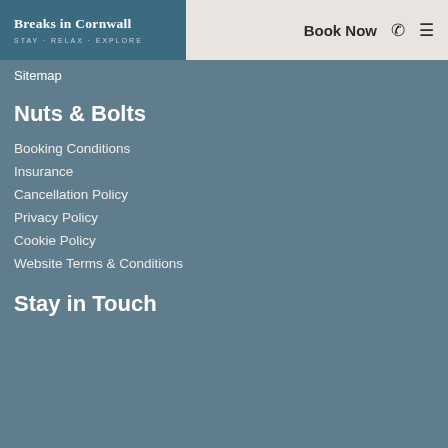Breaks in Cornwall | STAY · RELAX · EXPLORE | Book Now
Sitemap
Nuts & Bolts
Booking Conditions
Insurance
Cancellation Policy
Privacy Policy
Cookie Policy
Website Terms & Conditions
Stay in Touch